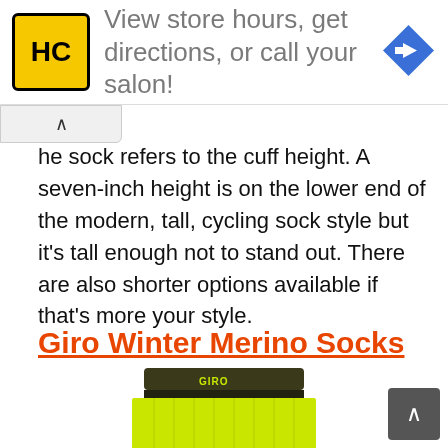[Figure (screenshot): Advertisement banner with HC logo (yellow/black), text 'View store hours, get directions, or call your salon!' in gray, and blue navigation arrow icon on the right]
he sock refers to the cuff height. A seven-inch height is on the lower end of the modern, tall, cycling sock style but it's tall enough not to stand out. There are also shorter options available if that's more your style.
Giro Winter Merino Socks
[Figure (photo): Bright yellow-green (neon) cycling sock with dark olive/black striped cuff, photographed against white background, showing the top portion of the sock]